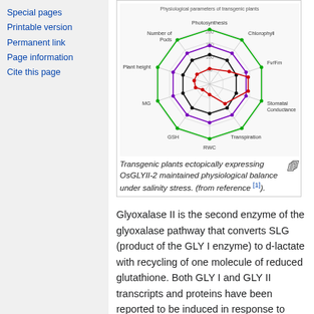Special pages
Printable version
Permanent link
Page information
Cite this page
[Figure (radar-chart): Radar/spider chart showing physiological parameters (Photosynthesis, Chlorophyll, Fv/Fm, Stomatal Conductance, Transpiration, RWC, GSH, MG, Plant height, Number of Pods) for transgenic plants expressing OsGLYII-2 under salinity stress. Multiple colored lines (green, black, purple, red) represent different conditions.]
Transgenic plants ectopically expressing OsGLYII-2 maintained physiological balance under salinity stress. (from reference [1]).
Glyoxalase II is the second enzyme of the glyoxalase pathway that converts SLG (product of the GLY I enzyme) to d-lactate with recycling of one molecule of reduced glutathione. Both GLY I and GLY II transcripts and proteins have been reported to be induced in response to various abiotic stresses in plants [2][3]. The plant genome contains multiple GLY II members, three in the case of rice and